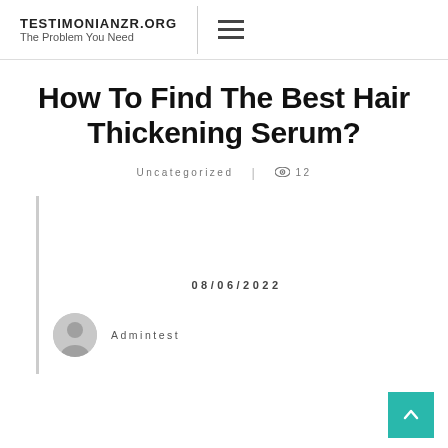TESTIMONIANZR.ORG — The Problem You Need
How To Find The Best Hair Thickening Serum?
Uncategorized | 12 views
08/06/2022
Admintest